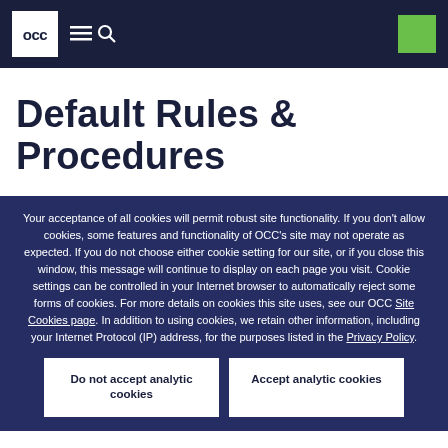OCC
Default Rules & Procedures
Your acceptance of all cookies will permit robust site functionality. If you don't allow cookies, some features and functionality of OCC's site may not operate as expected. If you do not choose either cookie setting for our site, or if you close this window, this message will continue to display on each page you visit. Cookie settings can be controlled in your Internet browser to automatically reject some forms of cookies. For more details on cookies this site uses, see our OCC Site Cookies page. In addition to using cookies, we retain other information, including your Internet Protocol (IP) address, for the purposes listed in the Privacy Policy.
Do not accept analytic cookies
Accept analytic cookies